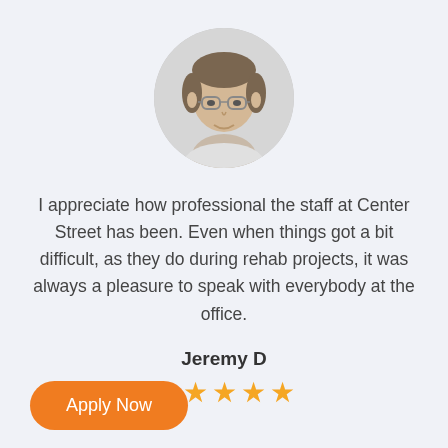[Figure (photo): Circular portrait photo of a middle-aged man with glasses and short brown hair, smiling slightly.]
I appreciate how professional the staff at Center Street has been. Even when things got a bit difficult, as they do during rehab projects, it was always a pleasure to speak with everybody at the office.
Jeremy D
[Figure (other): Five gold/orange star rating icons]
Apply Now